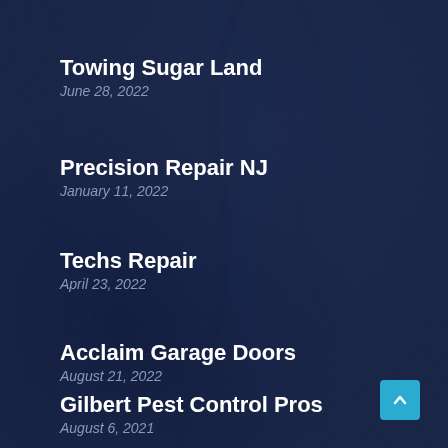Towing Sugar Land
June 28, 2022
Precision Repair NJ
January 11, 2022
Techs Repair
April 23, 2022
Acclaim Garage Doors
August 21, 2022
Gilbert Pest Control Pros
August 6, 2021